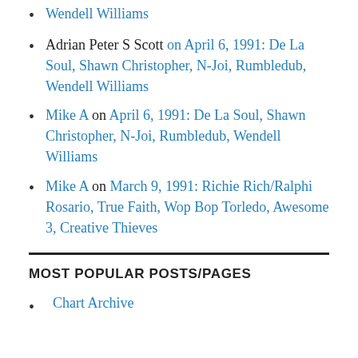Wendell Williams
Adrian Peter S Scott on April 6, 1991: De La Soul, Shawn Christopher, N-Joi, Rumbledub, Wendell Williams
Mike A on April 6, 1991: De La Soul, Shawn Christopher, N-Joi, Rumbledub, Wendell Williams
Mike A on March 9, 1991: Richie Rich/Ralphi Rosario, True Faith, Wop Bop Torledo, Awesome 3, Creative Thieves
MOST POPULAR POSTS/PAGES
Chart Archive